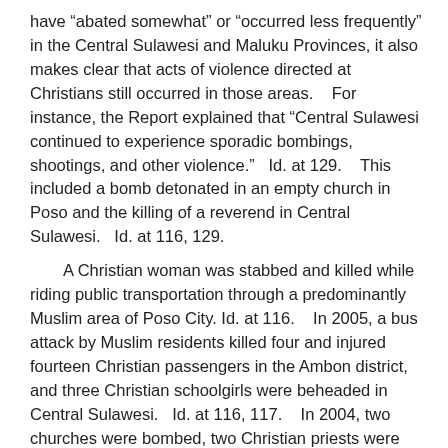have “abated somewhat” or “occurred less frequently” in the Central Sulawesi and Maluku Provinces, it also makes clear that acts of violence directed at Christians still occurred in those areas.    For instance, the Report explained that “Central Sulawesi continued to experience sporadic bombings, shootings, and other violence.”   Id. at 129.    This included a bomb detonated in an empty church in Poso and the killing of a reverend in Central Sulawesi.   Id. at 116, 129.
    A Christian woman was stabbed and killed while riding public transportation through a predominantly Muslim area of Poso City. Id. at 116.    In 2005, a bus attack by Muslim residents killed four and injured fourteen Christian passengers in the Ambon district, and three Christian schoolgirls were beheaded in Central Sulawesi.   Id. at 116, 117.    In 2004, two churches were bombed, two Christian priests were murdered, and a Pentecostal minister was abducted in Maluku Province.   Id. at 118.